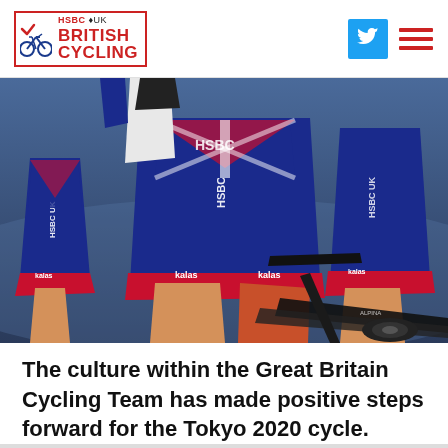HSBC UK BRITISH CYCLING
[Figure (photo): Close-up photo of British Cycling Team riders on track bikes, wearing blue and red HSBC UK branded cycling kit by Kalas. Multiple riders visible from waist down showing legs and handlebars.]
The culture within the Great Britain Cycling Team has made positive steps forward for the Tokyo 2020 cycle.